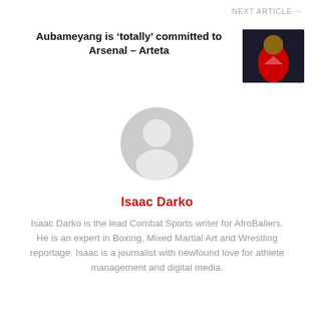NEXT ARTICLE →
Aubameyang is 'totally' committed to Arsenal – Arteta
[Figure (photo): Photo of a footballer in red Arsenal kit celebrating]
[Figure (illustration): Generic grey silhouette avatar placeholder for author]
Isaac Darko
Isaac Darko is the lead Combat Sports writer for AfroBallers. He is an expert in Boxing, Mixed Martial Art and Wrestling reportage. Isaac is a journalist with newfound love for athlete management and digital media.